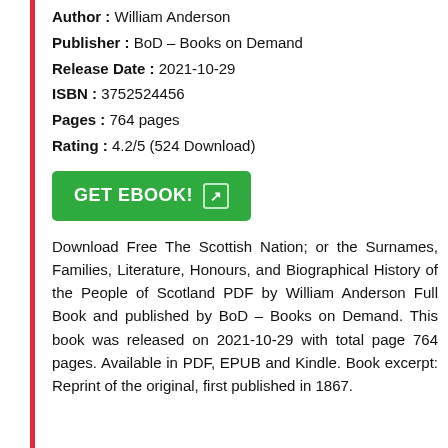Author : William Anderson
Publisher : BoD – Books on Demand
Release Date : 2021-10-29
ISBN : 3752524456
Pages : 764 pages
Rating : 4.2/5 (524 Download)
[Figure (other): Green GET EBOOK! button with arrow icon]
Download Free The Scottish Nation; or the Surnames, Families, Literature, Honours, and Biographical History of the People of Scotland PDF by William Anderson Full Book and published by BoD – Books on Demand. This book was released on 2021-10-29 with total page 764 pages. Available in PDF, EPUB and Kindle. Book excerpt: Reprint of the original, first published in 1867.